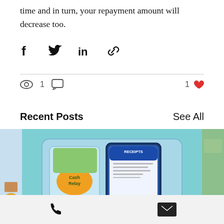time and in turn, your repayment amount will decrease too.
[Figure (infographic): Social sharing icons: Facebook, Twitter, LinkedIn, Link]
[Figure (infographic): View count: 1 eye icon, comment icon, 1 heart (like)]
Recent Posts
See All
[Figure (illustration): Center post thumbnail: illustration of a phone wallet with receipts app showing 'RECEIPTS' and a paper receipt labeled 'RULES REMINDER', with a Cash Relay sticker. Partial left and right thumbnails visible.]
Phone and email contact icons in footer bar